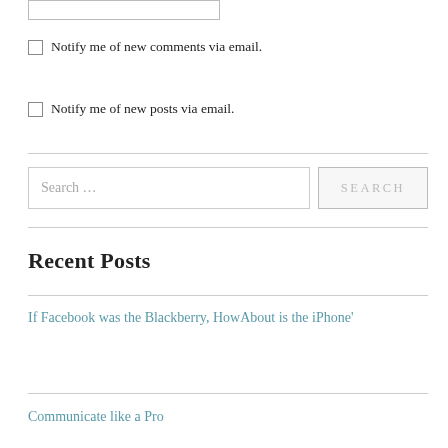[Figure (screenshot): Partial text input box at top of page]
Notify me of new comments via email.
Notify me of new posts via email.
[Figure (screenshot): Search bar with text 'Search …' and a SEARCH button]
Recent Posts
If Facebook was the Blackberry, HowAbout is the iPhone'
Communicate like a Pro